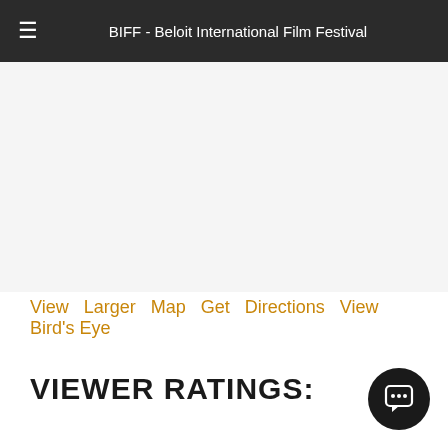BIFF - Beloit International Film Festival
[Figure (map): Embedded map area (blank/white in this view)]
View Larger Map  Get Directions  View Bird's Eye
VIEWER RATINGS: